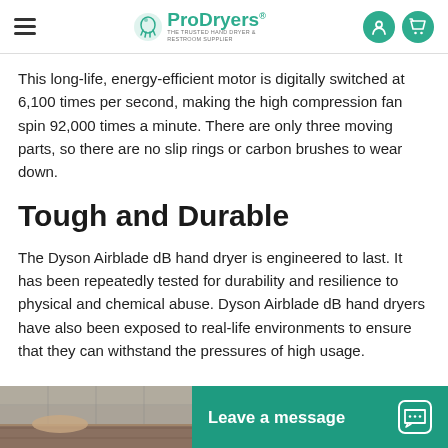ProDryers — THE TRUSTED HAND DRYER & RESTROOM SUPPLIER
This long-life, energy-efficient motor is digitally switched at 6,100 times per second, making the high compression fan spin 92,000 times a minute. There are only three moving parts, so there are no slip rings or carbon brushes to wear down.
Tough and Durable
The Dyson Airblade dB hand dryer is engineered to last. It has been repeatedly tested for durability and resilience to physical and chemical abuse. Dyson Airblade dB hand dryers have also been exposed to real-life environments to ensure that they can withstand the pressures of high usage.
[Figure (photo): Bottom strip showing a partial photo on the left and a teal 'Leave a message' chat button on the right]